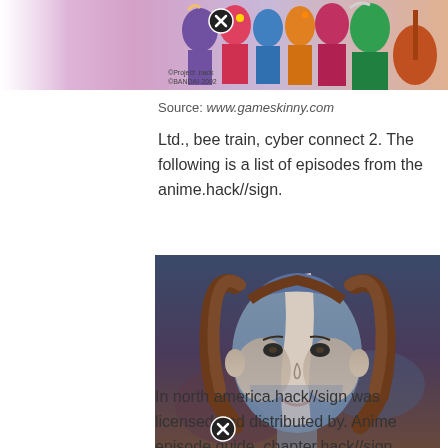[Figure (illustration): Colorful anime characters group image at the top of the page with a close/X button overlay, and a watermark reading ©Project .hack ©BANDAI 2002]
Source: www.gameskinny.com
Ltd., bee train, cyber connect 2. The following is a list of episodes from the anime.hack//sign.
[Figure (photo): Anime character close-up face shot from .hack//sign, showing a character with blue-grey face markings and brown hair, smiling slightly]
Source: www.pinterest.com
In north america.hack//sign was licensed and distributed by. Anime episode guide, chapter.hack//sign episode 4 english